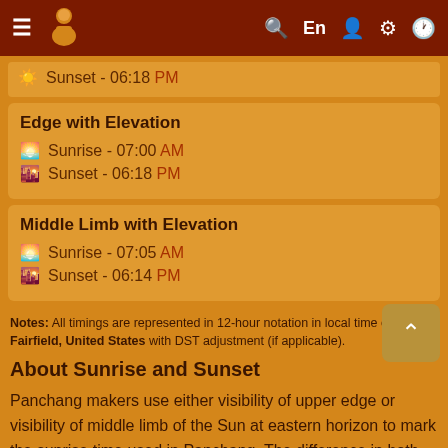Navigation bar with menu, logo, search, En, user, settings, clock icons
Sunset - 06:18 PM
Edge with Elevation
Sunrise - 07:00 AM
Sunset - 06:18 PM
Middle Limb with Elevation
Sunrise - 07:05 AM
Sunset - 06:14 PM
Notes: All timings are represented in 12-hour notation in local time of Fairfield, United States with DST adjustment (if applicable).
About Sunrise and Sunset
Panchang makers use either visibility of upper edge or visibility of middle limb of the Sun at eastern horizon to mark the sunrise time used in Panchang. The difference in both timing of Sunrise could be up to few minutes.